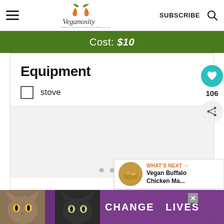Veganosity — SUBSCRIBE
Cost: $10
Equipment
stove
[Figure (photo): Food photo carousel with dot indicators]
WHAT'S NEXT → Vegan Buffalo Chicken Ma...
[Figure (screenshot): CHANGE LIVES advertisement with cats photo]